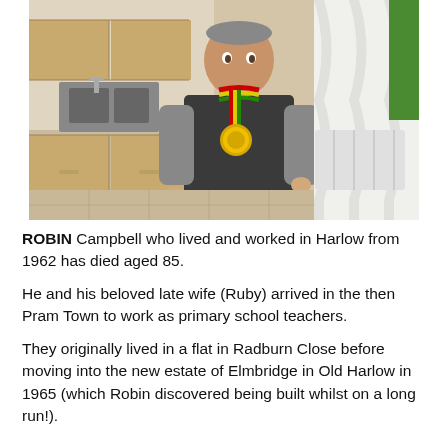[Figure (photo): A man standing indoors wearing a dark fleece vest over a grey long-sleeve top and blue jeans, with a gold medal on a red, yellow and green ribbon around his neck. The background shows a kitchen with wooden cabinets and a white curtain on the right.]
ROBIN Campbell who lived and worked in Harlow from 1962 has died aged 85.
He and his beloved late wife (Ruby) arrived in the then Pram Town to work as primary school teachers.
They originally lived in a flat in Radburn Close before moving into the new estate of Elmbridge in Old Harlow in 1965 (which Robin discovered being built whilst on a long run!).
Robin continued his story with the paragraph starting below...